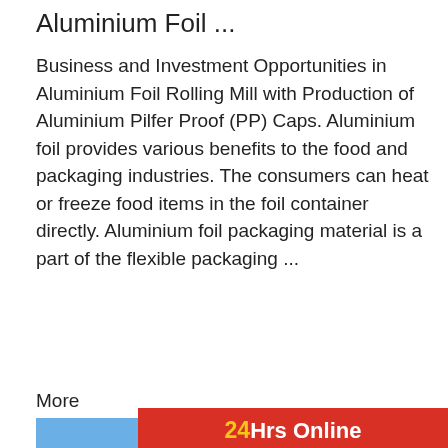Aluminium Foil ...
Business and Investment Opportunities in Aluminium Foil Rolling Mill with Production of Aluminium Pilfer Proof (PP) Caps. Aluminium foil provides various benefits to the food and packaging industries. The consumers can heat or freeze food items in the foil container directly. Aluminium foil packaging material is a part of the flexible packaging ...
More
[Figure (photo): Yellow excavator / heavy machinery working on a gravel or rock pile outdoors under blue sky]
[Figure (infographic): 24Hrs Online customer support widget with a woman wearing a headset, a blue circle accent, a 'Need questions & suggestion?' message, a 'Chat Now' button, and an 'Enquire' button at the bottom on a dark grey background]
aluminium foil rolling mill india
Aluminum Foil Rolling MillAluminum Rolli... prominent Importer and Supplier of Alumi... Mill in India Our Aluminium Foil Rolling M... a process of foil rolling and annealing fro...